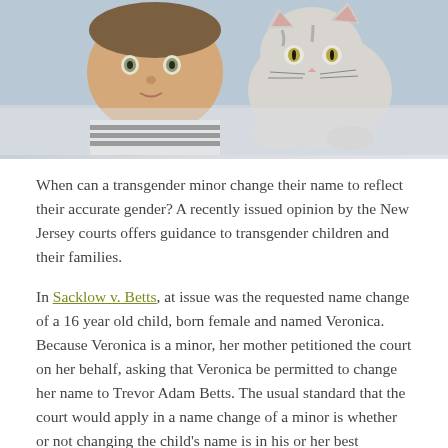[Figure (photo): A child and a cat lying side by side, the child wearing a striped shirt, looking at the camera alongside a grey and white cat.]
When can a transgender minor change their name to reflect their accurate gender? A recently issued opinion by the New Jersey courts offers guidance to transgender children and their families.
In Sacklow v. Betts, at issue was the requested name change of a 16 year old child, born female and named Veronica. Because Veronica is a minor, her mother petitioned the court on her behalf, asking that Veronica be permitted to change her name to Trevor Adam Betts. The usual standard that the court would apply in a name change of a minor is whether or not changing the child's name is in his or her best interests. There are many cases